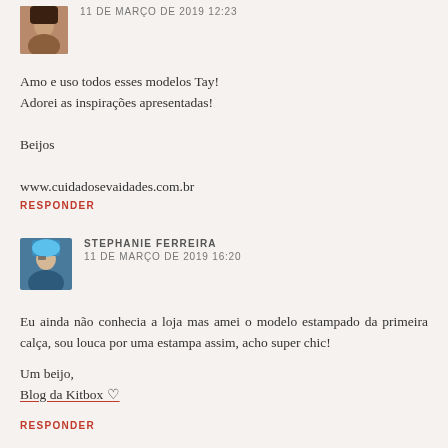[Figure (photo): Small avatar photo of a person with dark hair]
11 DE MARÇO DE 2019 12:23
Amo e uso todos esses modelos Tay!
Adorei as inspirações apresentadas!

Beijos

www.cuidadosevaidades.com.br
RESPONDER
[Figure (photo): Small avatar photo of a person with blue hair and glasses]
STEPHANIE FERREIRA
11 DE MARÇO DE 2019 16:20
Eu ainda não conhecia a loja mas amei o modelo estampado da primeira calça, sou louca por uma estampa assim, acho super chic!

Um beijo,
Blog da Kitbox ♡
RESPONDER